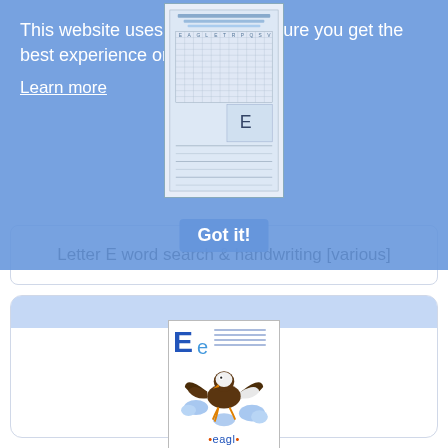This website uses cookies to ensure you get the best experience on our website.
Learn more
Got it!
[Figure (screenshot): Thumbnail of a worksheet labeled 'Alphabet Letter E Word Search' with a word search grid and handwriting lines]
Letter E word search & handwriting [various]
[Figure (illustration): Alphabet card for letter E featuring a cartoon eagle with large letter E and lowercase e, decorative handwriting lines, and the word 'eagle' with dotted letters at the bottom]
Letter E eagle activities